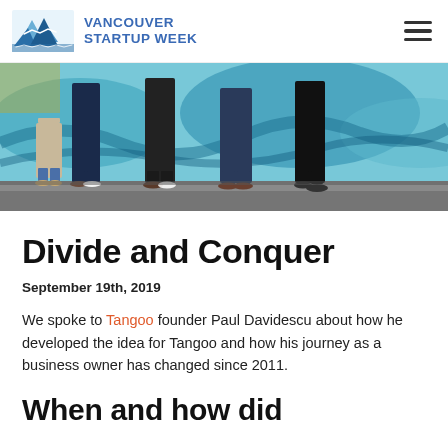VANCOUVER STARTUP WEEK
[Figure (photo): Group photo showing lower bodies/legs of several people standing in front of a colorful mural with blue wave patterns on a wall]
Divide and Conquer
September 19th, 2019
We spoke to Tangoo founder Paul Davidescu about how he developed the idea for Tangoo and how his journey as a business owner has changed since 2011.
When and how did...